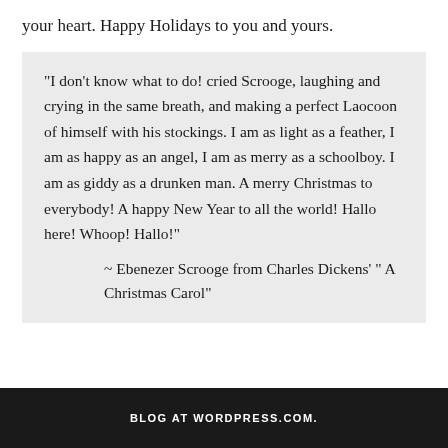your heart. Happy Holidays to you and yours.
"I don't know what to do! cried Scrooge, laughing and crying in the same breath, and making a perfect Laocoon of himself with his stockings. I am as light as a feather, I am as happy as an angel, I am as merry as a schoolboy. I am as giddy as a drunken man. A merry Christmas to everybody! A happy New Year to all the world! Hallo here! Whoop! Hallo!"
    ~ Ebenezer Scrooge from Charles Dickens' " A Christmas Carol"
BLOG AT WORDPRESS.COM.